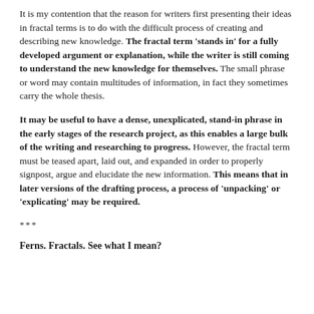It is my contention that the reason for writers first presenting their ideas in fractal terms is to do with the difficult process of creating and describing new knowledge. The fractal term 'stands in' for a fully developed argument or explanation, while the writer is still coming to understand the new knowledge for themselves. The small phrase or word may contain multitudes of information, in fact they sometimes carry the whole thesis.
It may be useful to have a dense, unexplicated, stand-in phrase in the early stages of the research project, as this enables a large bulk of the writing and researching to progress. However, the fractal term must be teased apart, laid out, and expanded in order to properly signpost, argue and elucidate the new information. This means that in later versions of the drafting process, a process of 'unpacking' or 'explicating' may be required.
***
Ferns. Fractals. See what I mean?